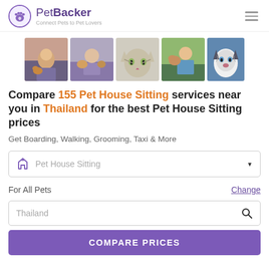PetBacker — Connect Pets to Pet Lovers
[Figure (photo): Strip of five pet/owner photos: person with dog, person with pets, cat face, woman holding dog, husky]
Compare 155 Pet House Sitting services near you in Thailand for the best Pet House Sitting prices
Get Boarding, Walking, Grooming, Taxi & More
Pet House Sitting (dropdown selector)
For All Pets  Change
Thailand (search box)
COMPARE PRICES